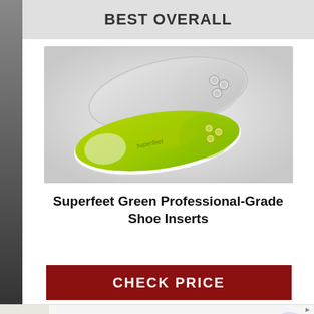BEST OVERALL
[Figure (photo): Two Superfeet green professional-grade shoe insoles — one shown from the top (grey fabric side) and one from the bottom (bright lime green side with brand logo and silver rivets), on a white background.]
Superfeet Green Professional-Grade Shoe Inserts
CHECK PRICE
Cheryl's: Cookie Delivery
gourmet brownies, cakes, cookies and cookie gift baskets
www.cheryls.com